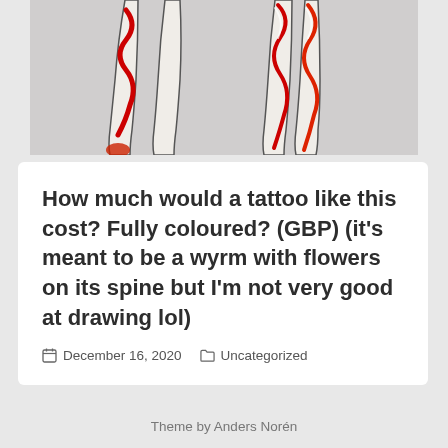[Figure (illustration): Drawing of two sets of lower legs/feet with red and white spiral patterns resembling candy cane stripes, on a light grey background. A wyrm with flowers on its spine tattoo design.]
How much would a tattoo like this cost? Fully coloured? (GBP) (it's meant to be a wyrm with flowers on its spine but I'm not very good at drawing lol)
December 16, 2020   Uncategorized
Theme by Anders Norén